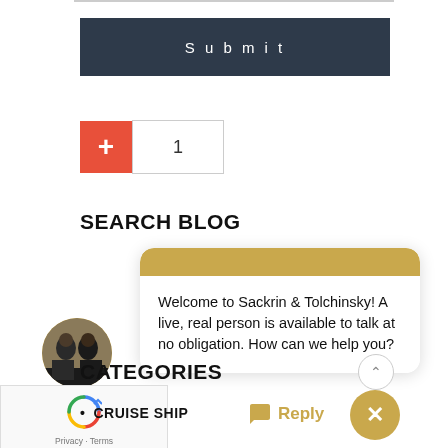[Figure (screenshot): Submit button - dark navy background with white 'Submit' text in spaced letters]
[Figure (screenshot): Plus button (red) next to a number input box showing '1']
SEARCH BLOG
[Figure (screenshot): Chat widget with gold header bar. Body text: 'Welcome to Sackrin & Tolchinsky! A live, real person is available to talk at no obligation. How can we help you?'. Agent avatar photo with 'online' green badge. Reply button and close X button in gold. Minimize ^ button. reCAPTCHA box with Privacy and Terms links.]
CATEGORIES
CRUISE SHIP